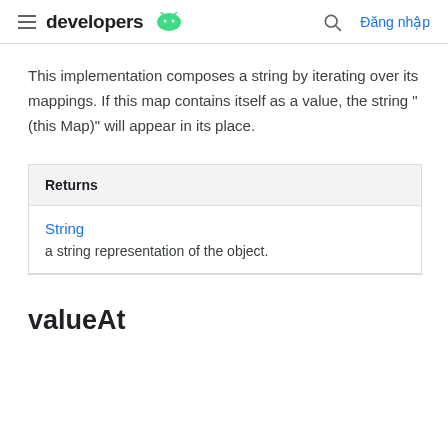developers [android logo] | [search] Đăng nhập
This implementation composes a string by iterating over its mappings. If this map contains itself as a value, the string "(this Map)" will appear in its place.
| Returns |
| --- |
| String | a string representation of the object. |
valueAt